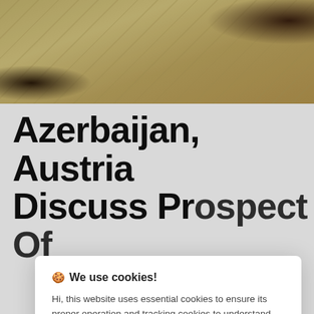[Figure (photo): Hotel room bed with decorative patterned bedding in gold/beige tones, partial view of furniture in background]
Azerbaijan, Austria Discuss Prospect Of
🍪 We use cookies!

Hi, this website uses essential cookies to ensure its proper operation and tracking cookies to understand how you interact with it. The latter will be set only after consent. Let me choose

[Accept all] [Reject all]